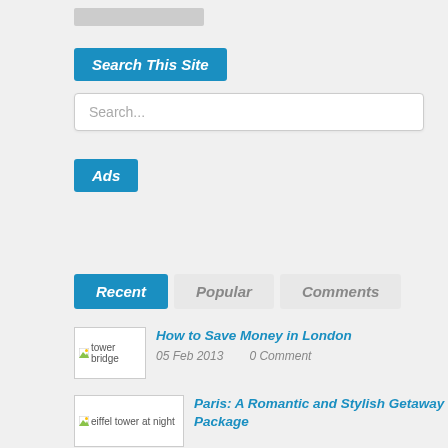[Figure (screenshot): Gray placeholder bar at top of sidebar]
Search This Site
[Figure (screenshot): Search input box with placeholder text 'Search...']
Ads
[Figure (screenshot): Tab bar with Recent (active/blue), Popular, Comments tabs]
[Figure (screenshot): Thumbnail image placeholder for tower bridge]
How to Save Money in London
05 Feb 2013      0 Comment
[Figure (screenshot): Thumbnail image placeholder for eiffel tower at night]
Paris: A Romantic and Stylish Getaway Package